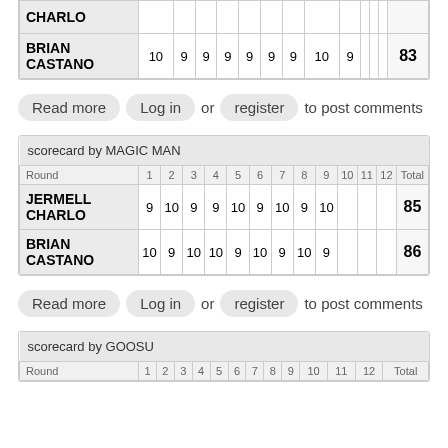|  | 1 | 2 | 3 | 4 | 5 | 6 | 7 | 8 | 9 | 10 | 11 | 12 | Total |
| --- | --- | --- | --- | --- | --- | --- | --- | --- | --- | --- | --- | --- | --- |
| CHARLO |  |  |  |  |  |  |  |  |  |  |  |  |  |
| BRIAN CASTANO | 10 | 9 | 9 | 9 | 9 | 9 | 9 | 10 | 9 |  |  |  | 83 |
Read more  Log in  or  register  to post comments
| scorecard by MAGIC MAN |
| --- |
| Round | 1 | 2 | 3 | 4 | 5 | 6 | 7 | 8 | 9 | 10 | 11 | 12 | Total |
| JERMELL CHARLO | 9 | 10 | 9 | 9 | 10 | 9 | 10 | 9 | 10 |  |  |  | 85 |
| BRIAN CASTANO | 10 | 9 | 10 | 10 | 9 | 10 | 9 | 10 | 9 |  |  |  | 86 |
Read more  Log in  or  register  to post comments
| scorecard by GOOSU |
| --- |
| Round | 1 | 2 | 3 | 4 | 5 | 6 | 7 | 8 | 9 | 10 | 11 | 12 | Total |